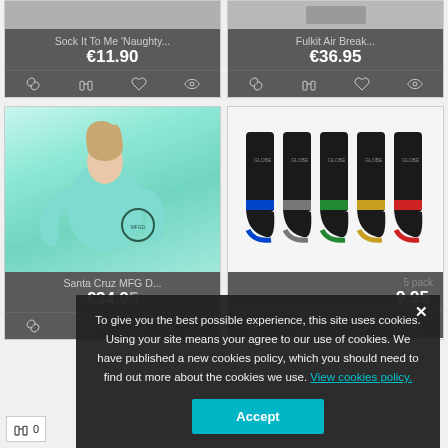[Figure (screenshot): E-commerce product listing page showing four products in a 2x2 grid. Top left: Sock It To Me 'Naughty... €11.90. Top right: Fulkit Air Break... €36.95. Bottom left: Santa Cruz MFG D... €34.95. Bottom right: Globe socks 5-pack. A cookie consent banner overlays the bottom portion.]
Sock It To Me 'Naughty...
€11.90
Fulkit Air Break...
€36.95
Santa Cruz MFG D...
€34.95
To give you the best possible experience, this site uses cookies. Using your site means your agree to our use of cookies. We have published a new cookies policy, which you should need to find out more about the cookies we use. View cookies policy.
Accept